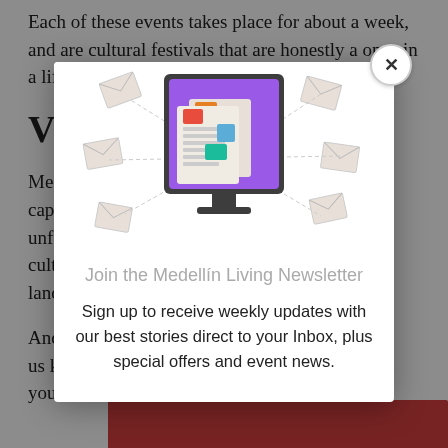Each of these events takes place for about a week, and are cultural festivals that are honestly a once in a lifetime exper
Vis... ne!
Mede... nd capita... n unfor... cultur... iful lands...
And,... ? Let us kn... what your i...
[Figure (illustration): Newsletter signup modal overlay showing a computer monitor with newspaper/articles graphic on purple background, surrounded by envelope icons with dashed lines. Below the illustration is the text 'Join the Medellín Living Newsletter' and 'Sign up to receive weekly updates with our best stories direct to your Inbox, plus special offers and event news.' A close button (×) appears in the top right corner of the modal.]